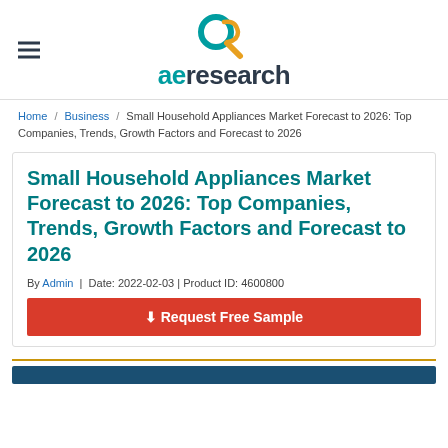aeResearch logo and navigation
Home / Business / Small Household Appliances Market Forecast to 2026: Top Companies, Trends, Growth Factors and Forecast to 2026
Small Household Appliances Market Forecast to 2026: Top Companies, Trends, Growth Factors and Forecast to 2026
By Admin | Date: 2022-02-03 | Product ID: 4600800
⬇ Request Free Sample